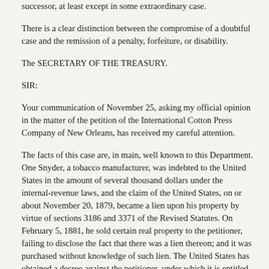successor, at least except in some extraordinary case.
There is a clear distinction between the compromise of a doubtful case and the remission of a penalty, forfeiture, or disability.
The SECRETARY OF THE TREASURY.
SIR:
Your communication of November 25, asking my official opinion in the matter of the petition of the International Cotton Press Company of New Orleans, has received my careful attention.
The facts of this case are, in main, well known to this Department. One Snyder, a tobacco manufacturer, was indebted to the United States in the amount of several thousand dollars under the internal-revenue laws, and the claim of the United States, on or about November 20, 1879, became a lien upon his property by virtue of sections 3186 and 3371 of the Revised Statutes. On February 5, 1881, he sold certain real property to the petitioner, failing to disclose the fact that there was a lien thereon; and it was purchased without knowledge of such lien. The United States has obtained a decree against the petitioner, under which it is entitled to sell this real estate in satisfaction of its claim. This decree has received the sanction of the highest court (United States v. Snyder, 149 U. S., 210), and is not appealable. It is not claimed that there is any doubt of the ability